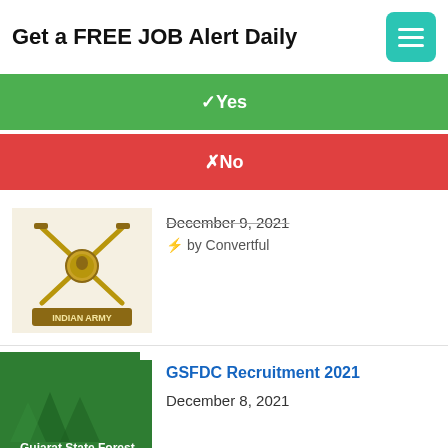Get a FREE JOB Alert Daily
✓ Yes
✗ No
[Figure (logo): Indian Army badge/emblem with crossed swords]
December 9, 2021
⚡ by Convertful
[Figure (logo): Gujarat State Forest Development Corporation Limited green logo]
GSFDC Recruitment 2021
December 8, 2021
[Figure (photo): NEIGRIHMS building sign partial]
NEIGRIHMS Recruitment 2021
December 8, 2021